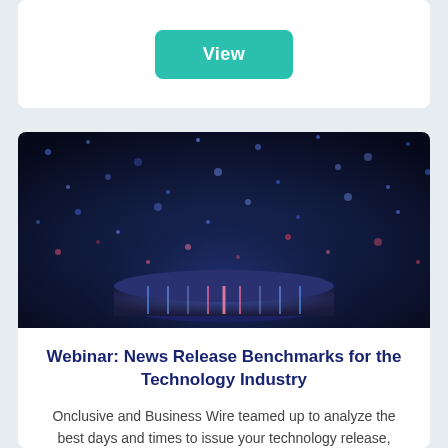View
[Figure (photo): Dark blue bokeh background with glowing particles and a reflective cylindrical pedestal at the bottom with colorful light streaks]
Webinar: News Release Benchmarks for the Technology Industry
Onclusive and Business Wire teamed up to analyze the best days and times to issue your technology release, industry benchmarks and best practices.